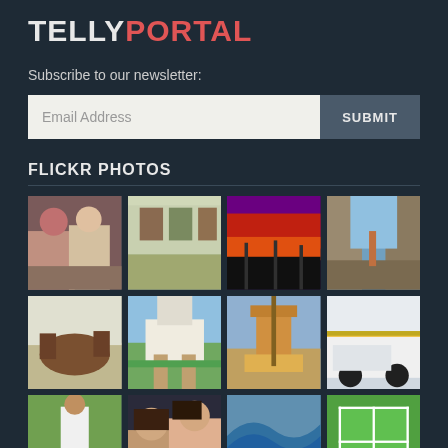TELLYPORTAL
Subscribe to our newsletter:
[Figure (screenshot): Email address input field with SUBMIT button]
FLICKR PHOTOS
[Figure (photo): Grid of 12 Flickr photos: people selfie, gallery interior, red sunset, rock climber, horse racing, alpine building, construction crane, white car, soccer player, female selfie, ocean wave, tennis court]